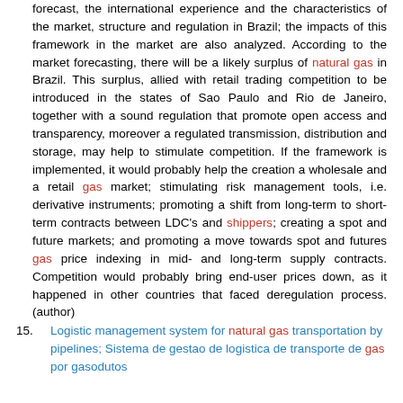forecast, the international experience and the characteristics of the market, structure and regulation in Brazil; the impacts of this framework in the market are also analyzed. According to the market forecasting, there will be a likely surplus of natural gas in Brazil. This surplus, allied with retail trading competition to be introduced in the states of Sao Paulo and Rio de Janeiro, together with a sound regulation that promote open access and transparency, moreover a regulated transmission, distribution and storage, may help to stimulate competition. If the framework is implemented, it would probably help the creation a wholesale and a retail gas market; stimulating risk management tools, i.e. derivative instruments; promoting a shift from long-term to short-term contracts between LDC's and shippers; creating a spot and future markets; and promoting a move towards spot and futures gas price indexing in mid- and long-term supply contracts. Competition would probably bring end-user prices down, as it happened in other countries that faced deregulation process. (author)
15. Logistic management system for natural gas transportation by pipelines; Sistema de gestao de logistica de transporte de gas por gasodutos